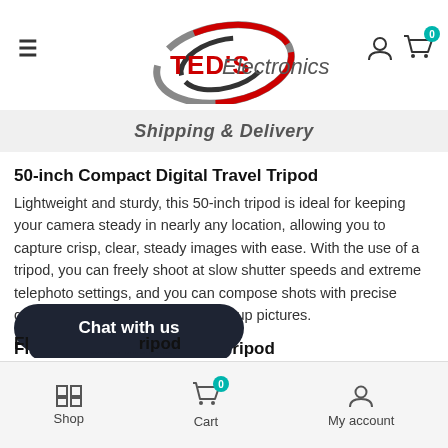TED'S Electronics — navigation header with hamburger menu, logo, user icon, cart icon (0)
Shipping & Delivery
50-inch Compact Digital Travel Tripod
Lightweight and sturdy, this 50-inch tripod is ideal for keeping your camera steady in nearly any location, allowing you to capture crisp, clear, steady images with ease. With the use of a tripod, you can freely shoot at slow shutter speeds and extreme telephoto settings, and you can compose shots with precise control for perfect portraits and group pictures.
Fl... ripod
Shop  Cart  My account